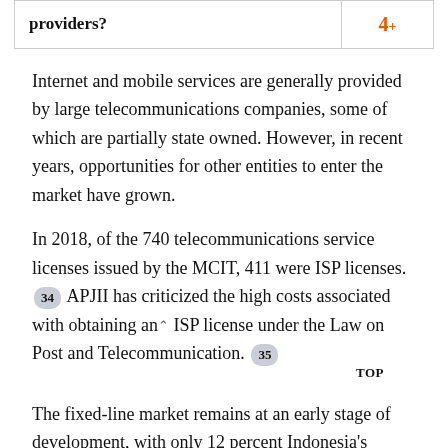| providers? | 4+ |
| --- | --- |
Internet and mobile services are generally provided by large telecommunications companies, some of which are partially state owned. However, in recent years, opportunities for other entities to enter the market have grown.
In 2018, of the 740 telecommunications service licenses issued by the MCIT, 411 were ISP licenses. [34] APJII has criticized the high costs associated with obtaining an ISP license under the Law on Post and Telecommunication. [35] TOP
The fixed-line market remains at an early stage of development, with only 12 percent Indonesia's 83,218 villages served by fixed broadband. [36] The lack of existing infrastructure requires ISPs to invest heavily in